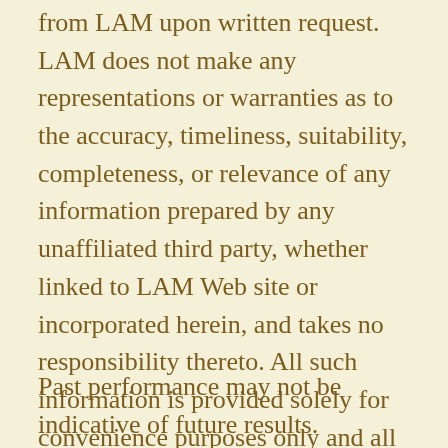from LAM upon written request. LAM does not make any representations or warranties as to the accuracy, timeliness, suitability, completeness, or relevance of any information prepared by any unaffiliated third party, whether linked to LAM Web site or incorporated herein, and takes no responsibility thereto. All such information is provided solely for convenience purposes only and all users thereof should be guided accordingly.
Past performance may not be indicative of future results. Therefore, no current or